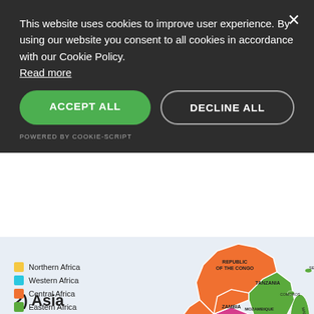This website uses cookies to improve user experience. By using our website you consent to all cookies in accordance with our Cookie Policy. Read more
ACCEPT ALL
DECLINE ALL
POWERED BY COOKIE-SCRIPT
[Figure (map): Partial map of Africa showing southern and eastern regions color-coded by sub-region: Northern Africa (yellow/orange), Western Africa (cyan/blue), Central Africa (orange), Eastern Africa (green), Southern Africa (magenta/pink). Countries visible include Republic of the Congo, Tanzania, Angola, Zambia, Mozambique, Zimbabwe, Namibia, Botswana, South Africa, Comoros, Seychelles, Madagascar.]
2) Asia